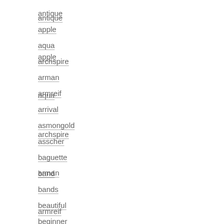antique
apple
aqua
archspire
arman
armreif
arrival
asmongold
asscher
baguette
band
bands
beautiful
beginner